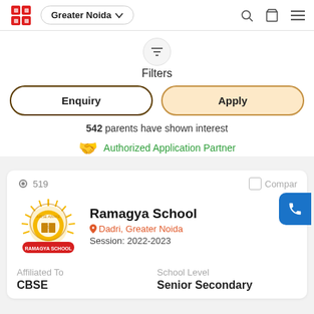Greater Noida
Filters
Enquiry
Apply
542 parents have shown interest
Authorized Application Partner
519
Compare
Ramagya School
Dadri, Greater Noida
Session: 2022-2023
Affiliated To
CBSE
School Level
Senior Secondary